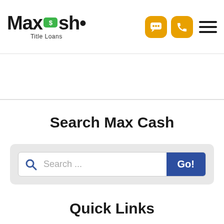[Figure (logo): MaxCash Title Loans logo with green cash icon, navigation icons (chat bubble, phone) in orange rounded squares, and hamburger menu]
Search Max Cash
[Figure (screenshot): Search bar with magnifying glass icon, placeholder text 'Search ...', and a dark blue 'Go!' button]
Quick Links